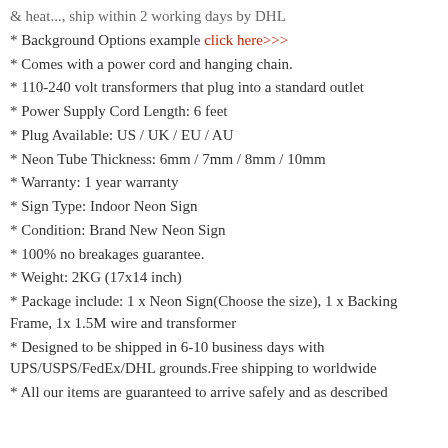& heat..., ship within 2 working days by DHL
* Background Options example click here>>>
* Comes with a power cord and hanging chain.
* 110-240 volt transformers that plug into a standard outlet
* Power Supply Cord Length: 6 feet
* Plug Available: US / UK / EU / AU
* Neon Tube Thickness: 6mm / 7mm / 8mm / 10mm
* Warranty: 1 year warranty
* Sign Type: Indoor Neon Sign
* Condition: Brand New Neon Sign
* 100% no breakages guarantee.
* Weight: 2KG (17x14 inch)
* Package include: 1 x Neon Sign(Choose the size), 1 x Backing Frame, 1x 1.5M wire and transformer
* Designed to be shipped in 6-10 business days with UPS/USPS/FedEx/DHL grounds.Free shipping to worldwide
* All our items are guaranteed to arrive safely and as described